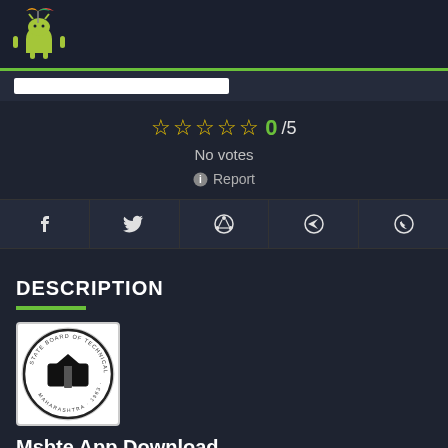[Figure (logo): Android app store website logo - Android robot with colorful umbrella]
[Figure (screenshot): White search/progress bar partially filled]
☆☆☆☆☆ 0/5
No votes
ℹ Report
[Figure (infographic): Social share buttons: Facebook, Twitter, Pinterest, Telegram, WhatsApp]
DESCRIPTION
[Figure (logo): Maharashtra State Board of Technical Education circular logo with open book]
Msbte App Download